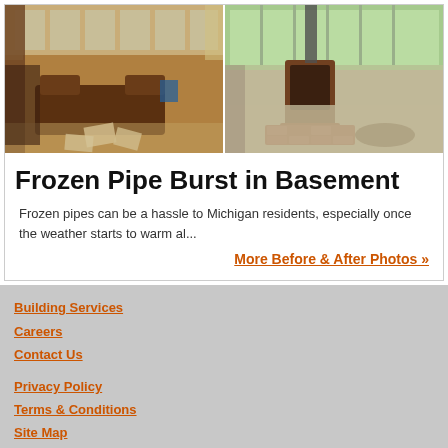[Figure (photo): Before photo: interior room with leather sofas and papers scattered on floor, windows with curtains visible]
[Figure (photo): After photo: same room emptied out with bare concrete floor, fireplace/stove visible, large windows]
Frozen Pipe Burst in Basement
Frozen pipes can be a hassle to Michigan residents, especially once the weather starts to warm al...
More Before & After Photos »
Building Services
Careers
Contact Us
Privacy Policy
Terms & Conditions
Site Map
Visit our corporate site